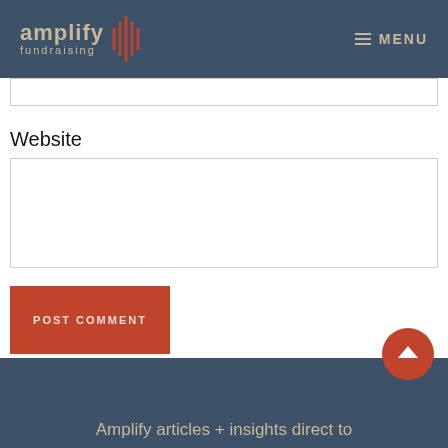amplify fundraising — MENU
Website
[Figure (screenshot): Website text input field (empty)]
[Figure (screenshot): POST COMMENT button (red/orange)]
Amplify articles + insights direct to